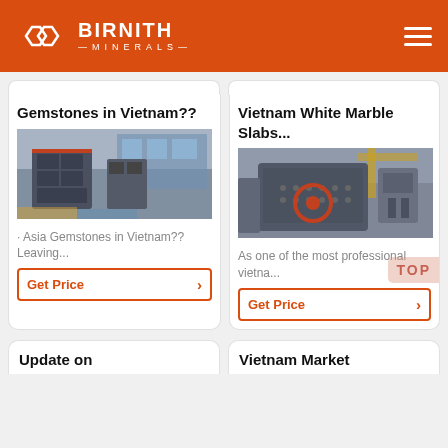BIRNITH MINERALS
Gemstones in Vietnam??
[Figure (photo): Industrial mining/crushing machinery in a warehouse facility]
· Asia Gemstones in Vietnam?? Leaving...
Get Price
Vietnam White Marble Slabs...
[Figure (photo): Industrial impact crusher machine in a factory setting]
As one of the most professional vietna...
Get Price
Update on
Vietnam Market